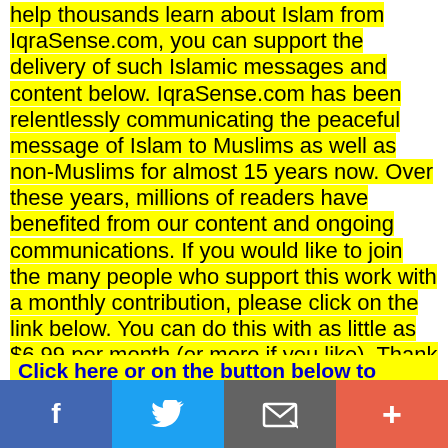help thousands learn about Islam from IqraSense.com, you can support the delivery of such Islamic messages and content below. IqraSense.com has been relentlessly communicating the peaceful message of Islam to Muslims as well as non-Muslims for almost 15 years now. Over these years, millions of readers have benefited from our content and ongoing communications. If you would like to join the many people who support this work with a monthly contribution, please click on the link below. You can do this with as little as $6.99 per month (or more if you like). Thank you and JazakAllah for your support!
Click here or on the button below to ‘subscribe’!
[Figure (other): Blue rounded subscribe button]
Facebook | Twitter | Email | Plus